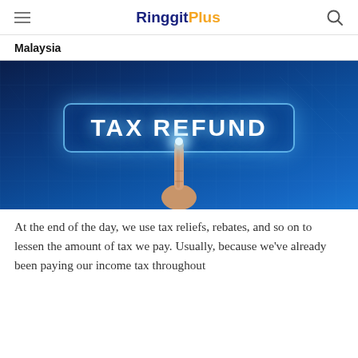RinggitPlus
Malaysia
[Figure (photo): A hand with index finger pointing upward touching a glowing 'TAX REFUND' button displayed on a virtual screen, set against a dark blue digital background with circuit-like patterns.]
At the end of the day, we use tax reliefs, rebates, and so on to lessen the amount of tax we pay. Usually, because we've already been paying our income tax throughout